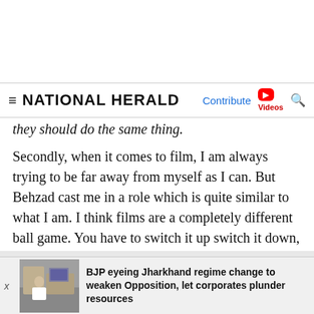NATIONAL HERALD | Contribute | Videos
they should do the same thing.
Secondly, when it comes to film, I am always trying to be far away from myself as I can. But Behzad cast me in a role which is quite similar to what I am. I think films are a completely different ball game. You have to switch it up switch it down, do what the director expects you to do. In reality shows it is best to be yourself.
Y... are for this ch...
BJP eyeing Jharkhand regime change to weaken Opposition, let corporates plunder resources